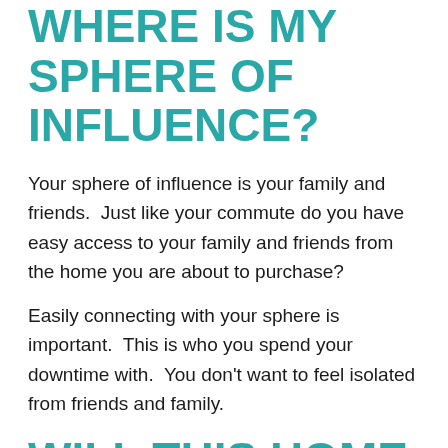WHERE IS MY SPHERE OF INFLUENCE?
Your sphere of influence is your family and friends.  Just like your commute do you have easy access to your family and friends from the home you are about to purchase?
Easily connecting with your sphere is important.  This is who you spend your downtime with.  You don't want to feel isolated from friends and family.
WILL THIS HOME SUIT ME LONG TERM?